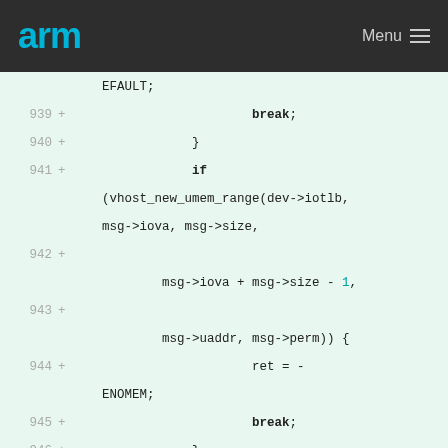arm  Menu
[Figure (screenshot): Code diff snippet showing lines 939-950 of a kernel/vhost patch with line numbers, plus signs, and monospaced code content including break statements, if condition with vhost_new_umem_range, ret = -ENOMEM, vhost_iotlb_notify_vq, case VHOST_IOTLB_INVALIDATE, and vhost_del_umem_range.]